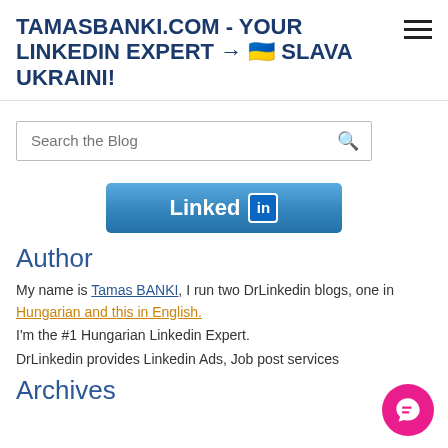TAMASBANKI.COM - YOUR LINKEDIN EXPERT → 🇺🇦 SLAVA UKRAINI!
[Figure (screenshot): Search the Blog input box with search icon]
[Figure (logo): LinkedIn button logo]
Author
My name is Tamas BANKI, I run two DrLinkedin blogs, one in Hungarian and this in English.
I'm the #1 Hungarian Linkedin Expert.
DrLinkedin provides Linkedin Ads, Job post services
Archives